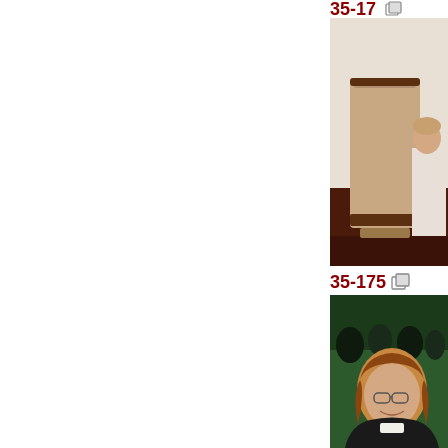[Figure (photo): Person standing at a podium/lectern in a room with dark wood paneling and white walls]
[Figure (photo): Woman with brown hair and glasses sitting in an audience at a conference or event, green background with other attendees visible behind her]